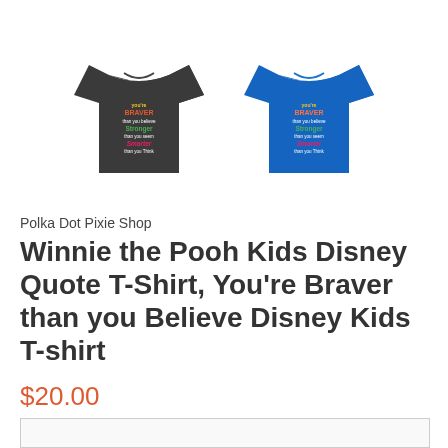[Figure (photo): Two kids t-shirts side by side: left is dark gray/charcoal, right is royal blue. Both have colorful text graphic reading 'You're Braver than you Believe, Stronger than you Seem, Smarter than you Think' in a Winnie the Pooh style quote design.]
Polka Dot Pixie Shop
Winnie the Pooh Kids Disney Quote T-Shirt, You're Braver than you Believe Disney Kids T-shirt
$20.00
Color